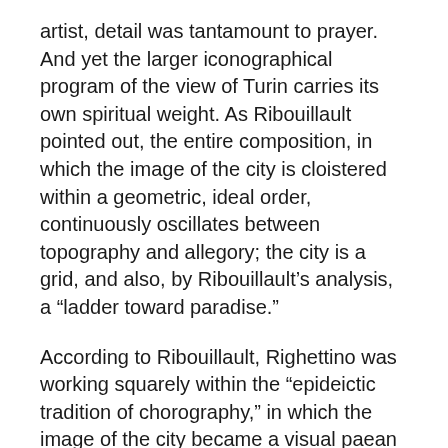artist, detail was tantamount to prayer. And yet the larger iconographical program of the view of Turin carries its own spiritual weight. As Ribouillault pointed out, the entire composition, in which the image of the city is cloistered within a geometric, ideal order, continuously oscillates between topography and allegory; the city is a grid, and also, by Ribouillault's analysis, a “ladder toward paradise.”
According to Ribouillault, Righettino was working squarely within the “epideictic tradition of chorography,” in which the image of the city became a visual paean and the traditional cartographic view—top-down and essentially omniscient—was equated with the view of God.
As fantastic and as impressive as Righettino’s